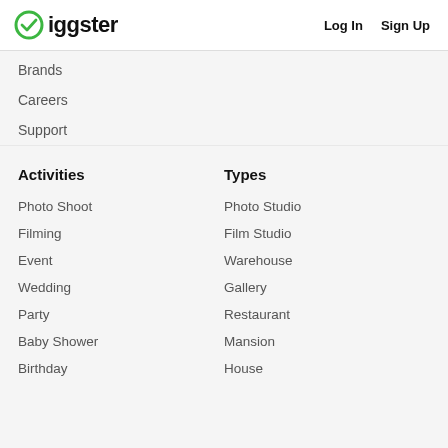Giggster   Log In   Sign Up
Brands
Careers
Support
Activities
Types
Photo Shoot
Photo Studio
Filming
Film Studio
Event
Warehouse
Wedding
Gallery
Party
Restaurant
Baby Shower
Mansion
Birthday
House